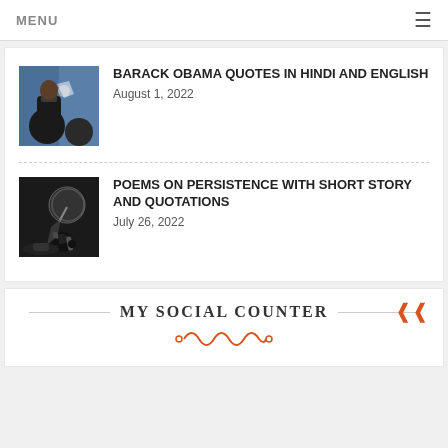MENU ≡
BARACK OBAMA QUOTES IN HINDI AND ENGLISH
August 1, 2022
POEMS ON PERSISTENCE WITH SHORT STORY AND QUOTATIONS
July 26, 2022
MY SOCIAL COUNTER